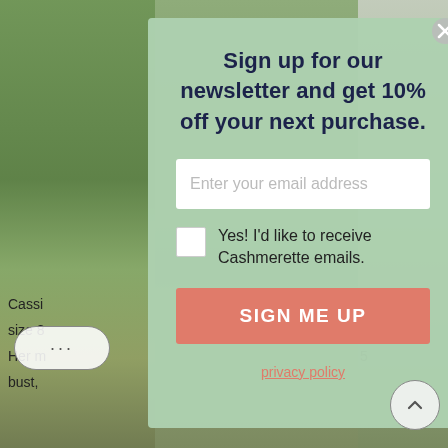[Figure (screenshot): Background outdoor photo with green grass and garden path, partially visible on left and right sides behind modal overlay]
Sign up for our newsletter and get 10% off your next purchase.
Enter your email address
Yes! I'd like to receive Cashmerette emails.
SIGN ME UP
privacy policy